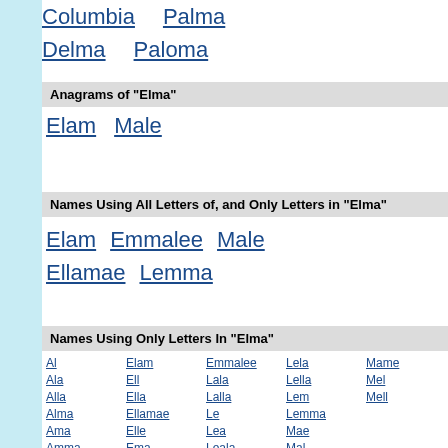Columbia  Palma
Delma  Paloma
Anagrams of "Elma"
Elam  Male
Names Using All Letters of, and Only Letters in "Elma"
Elam  Emmalee  Male
Ellamae  Lemma
Names Using Only Letters In "Elma"
Al  Elam  Emmalee  Lela  Mame
Ala  Ell  Lala  Lella  Mel
Alla  Ella  Lalla  Lem  Mell
Alma  Ellamae  Le  Lemma
Ama  Elle  Lea  Mae
Amma  Ema  Leala  Mal
Ela  Emma  Lee  Male